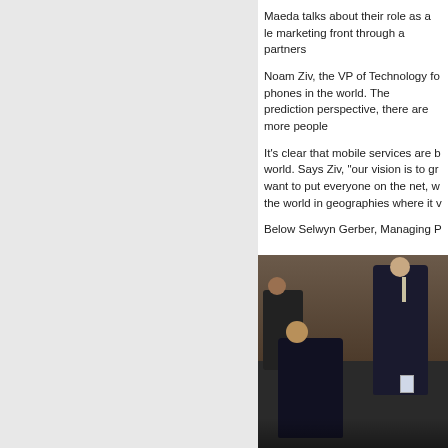Maeda talks about their role as a le marketing front through a partners
Noam Ziv, the VP of Technology fo phones in the world. The prediction perspective, there are more people
It's clear that mobile services are b world. Says Ziv, "our vision is to gr want to put everyone on the net, w the world in geographies where it v
Below Selwyn Gerber, Managing P
[Figure (photo): Conference room scene showing a man in a dark suit standing at the right side of the room, and a seated man in the foreground on the left. Additional conference attendees visible in the background.]